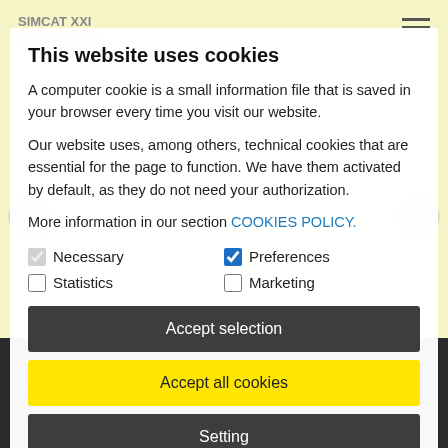SIMCAT XXI serveis immobiliaris
This website uses cookies
A computer cookie is a small information file that is saved in your browser every time you visit our website.
Our website uses, among others, technical cookies that are essential for the page to function. We have them activated by default, as they do not need your authorization.
More information in our section COOKIES POLICY.
Necessary (checkbox, checked/greyed)
Preferences (checkbox, checked blue)
Statistics (checkbox, unchecked)
Marketing (checkbox, unchecked)
Accept selection
Accept all cookies
Setting
Simcat XXI Figueres